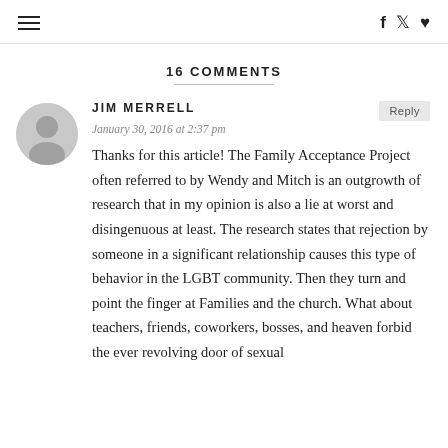≡  f  🐦  ♥
16 COMMENTS
JIM MERRELL
January 30, 2016 at 2:37 pm
Thanks for this article! The Family Acceptance Project often referred to by Wendy and Mitch is an outgrowth of research that in my opinion is also a lie at worst and disingenuous at least. The research states that rejection by someone in a significant relationship causes this type of behavior in the LGBT community. Then they turn and point the finger at Families and the church. What about teachers, friends, coworkers, bosses, and heaven forbid the ever revolving door of sexual